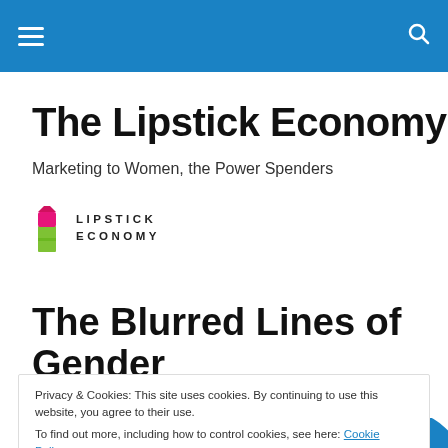Navigation bar with hamburger menu and search icon
The Lipstick Economy
Marketing to Women, the Power Spenders
[Figure (logo): Lipstick Economy logo with pink and green lipstick icon and text LIPSTICK ECONOMY in spaced capitals]
The Blurred Lines of Gender
Privacy & Cookies: This site uses cookies. By continuing to use this website, you agree to their use.
To find out more, including how to control cookies, see here: Cookie Policy